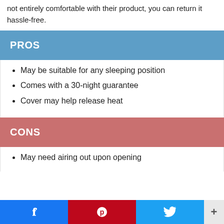not entirely comfortable with their product, you can return it hassle-free.
PROS
May be suitable for any sleeping position
Comes with a 30-night guarantee
Cover may help release heat
CONS
May need airing out upon opening
Share buttons: Facebook, Pinterest, Twitter, +